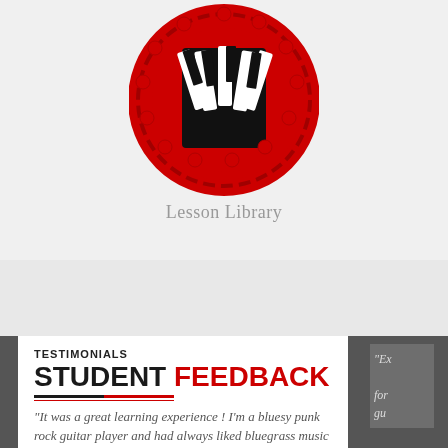[Figure (logo): Round rope-bordered logo with red background and black/white piano keys design in center]
Lesson Library
TESTIMONIALS
STUDENT FEEDBACK
"It was a great learning experience ! I'm a bluesy punk rock guitar player and had always liked bluegrass music but had no idea how to play it